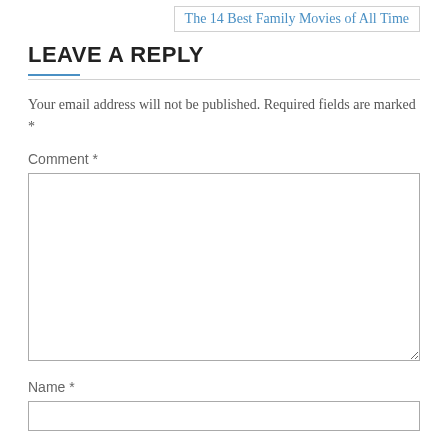The 14 Best Family Movies of All Time
LEAVE A REPLY
Your email address will not be published. Required fields are marked *
Comment *
[Figure (other): Empty comment textarea input field]
Name *
[Figure (other): Empty name text input field]